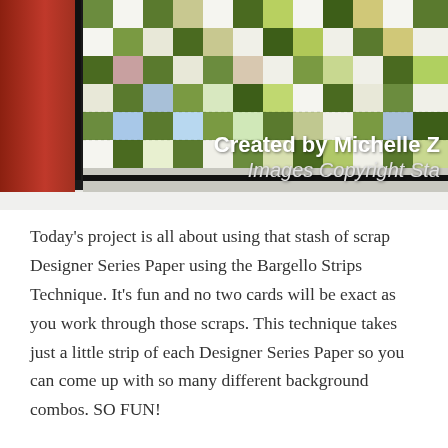[Figure (photo): Photograph of a quilt or card project using the Bargello Strips Technique, showing a patchwork of green, yellow-green, white, and patterned fabric squares arranged in a checkerboard-like pattern, framed with a red/orange border, displayed on a white surface. Overlaid white text reads 'Created by Michelle Z' and 'Images Copyright Sta'.]
Today's project is all about using that stash of scrap Designer Series Paper using the Bargello Strips Technique. It's fun and no two cards will be exact as you work through those scraps. This technique takes just a little strip of each Designer Series Paper so you can come up with so many different background combos. SO FUN!